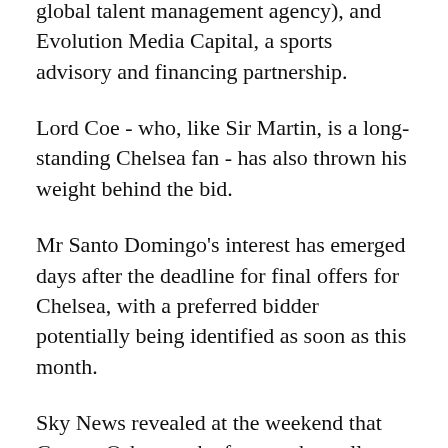global talent management agency), and Evolution Media Capital, a sports advisory and financing partnership.
Lord Coe - who, like Sir Martin, is a long-standing Chelsea fan - has also thrown his weight behind the bid.
Mr Santo Domingo's interest has emerged days after the deadline for final offers for Chelsea, with a preferred bidder potentially being identified as soon as this month.
Sky News revealed at the weekend that George Osborne, the former chancellor, had been parachuted in to help the Los Angeles Dodgers